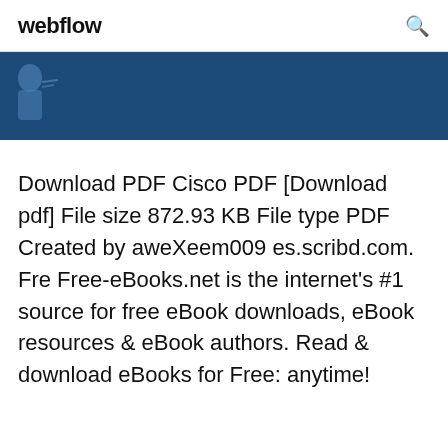webflow
[Figure (illustration): Dark blue banner with a partial silhouette figure on the left side]
Download PDF Cisco PDF [Download pdf] File size 872.93 KB File type PDF Created by aweXeem009 es.scribd.com. Fre Free-eBooks.net is the internet's #1 source for free eBook downloads, eBook resources & eBook authors. Read & download eBooks for Free: anytime!